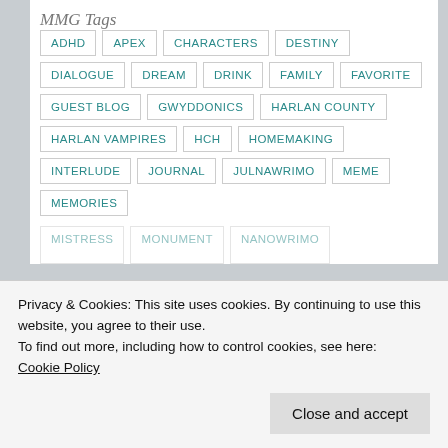MMG Tags
ADHD
APEX
CHARACTERS
DESTINY
DIALOGUE
DREAM
DRINK
FAMILY
FAVORITE
GUEST BLOG
GWYDDONICS
HARLAN COUNTY
HARLAN VAMPIRES
HCH
HOMEMAKING
INTERLUDE
JOURNAL
JULNAWRIMO
MEME
MEMORIES
Privacy & Cookies: This site uses cookies. By continuing to use this website, you agree to their use.
To find out more, including how to control cookies, see here:
Cookie Policy
Close and accept